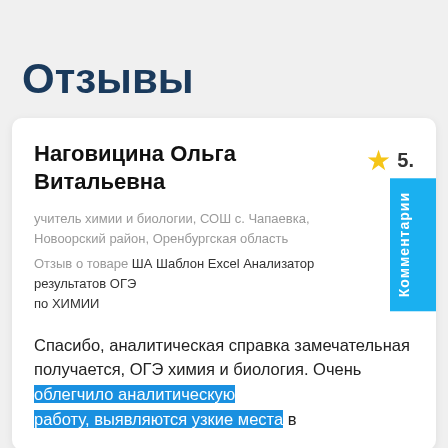Отзывы
Наговицина Ольга Витальевна
учитель химии и биологии, СОШ с. Чапаевка, Новоорский район, Оренбургская область
Отзыв о товаре ША Шаблон Excel Анализатор результатов ОГЭ по ХИМИИ
Спасибо, аналитическая справка замечательная получается, ОГЭ химия и биология. Очень облегчило аналитическую работу, выявляются узкие места в